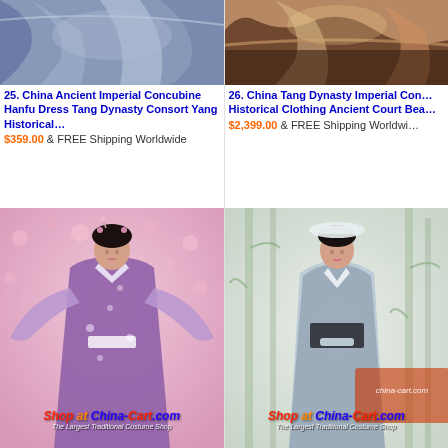[Figure (photo): Product image for item 25: China Ancient Imperial Concubine Hanfu Dress Tang Dynasty Consort Yang historical costume, dark/blue tones]
25. China Ancient Imperial Concubine Hanfu Dress Tang Dynasty Consort Yang Historical…
$359.00 & FREE Shipping Worldwide
[Figure (photo): Product image for item 26: China Tang Dynasty Imperial Concubine Historical Clothing Ancient Court Beauty costume]
26. China Tang Dynasty Imperial Concubine Historical Clothing Ancient Court Bea…
$2,399.00 & FREE Shipping Worldwide
[Figure (photo): Woman wearing elaborate purple/lavender floral Hanfu traditional Chinese dress with wide sleeves, standing in front of pink blossoms, watermark Shop at China-Cart.com]
[Figure (photo): Woman in light blue/grey Hanfu traditional Chinese court dress holding something, standing in front of bamboo painted background, watermark Shop at China-Cart.com]